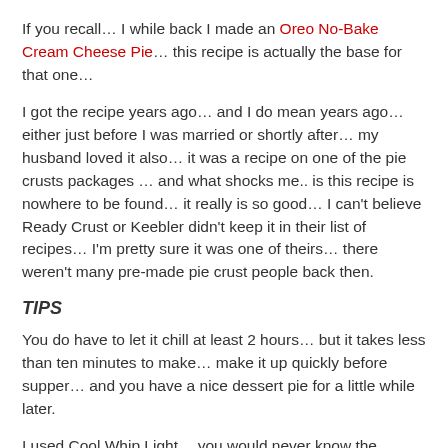If you recall… I while back I made an Oreo No-Bake Cream Cheese Pie… this recipe is actually the base for that one…
I got the recipe years ago… and I do mean years ago… either just before I was married or shortly after… my husband loved it also… it was a recipe on one of the pie crusts packages … and what shocks me.. is this recipe is nowhere to be found… it really is so good… I can't believe Ready Crust or Keebler didn't keep it in their list of recipes… I'm pretty sure it was one of theirs… there weren't many pre-made pie crust people back then.
TIPS
You do have to let it chill at least 2 hours… but it takes less than ten minutes to make… make it up quickly before supper… and you have a nice dessert pie for a little while later.
I used Cool Whip Light… you would never know the difference… honestly